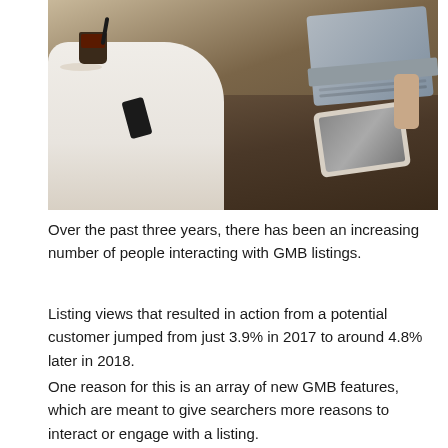[Figure (photo): Overhead view of two people at a wooden table with devices — one person in a white shirt holding a smartphone, the other near a laptop. A coffee drink with ice, a saucer, and a tablet are also visible on the table.]
Over the past three years, there has been an increasing number of people interacting with GMB listings.
Listing views that resulted in action from a potential customer jumped from just 3.9% in 2017 to around 4.8% later in 2018.
One reason for this is an array of new GMB features, which are meant to give searchers more reasons to interact or engage with a listing.